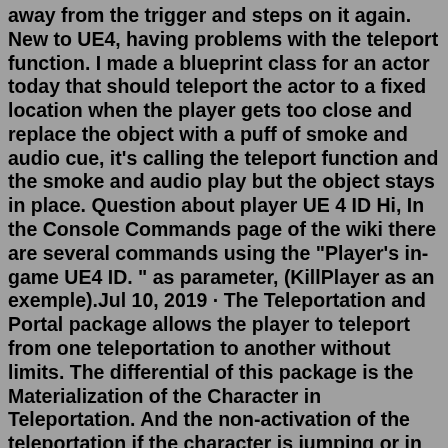away from the trigger and steps on it again. New to UE4, having problems with the teleport function. I made a blueprint class for an actor today that should teleport the actor to a fixed location when the player gets too close and replace the object with a puff of smoke and audio cue, it's calling the teleport function and the smoke and audio play but the object stays in place. Question about player UE 4 ID Hi, In the Console Commands page of the wiki there are several commands using the "Player's in-game UE4 ID. " as parameter, (KillPlayer as an exemple).Jul 10, 2019 · The Teleportation and Portal package allows the player to teleport from one teleportation to another without limits. The differential of this package is the Materialization of the Character in Teleportation. And the non-activation of the teleportation if the character is jumping or in the air, when passing by the sensor. Technical Details Used for adding actors to levels or teleporting them to a new location. The result of this function is independent of the actor's current location and rotation. If the actor doesn't fit